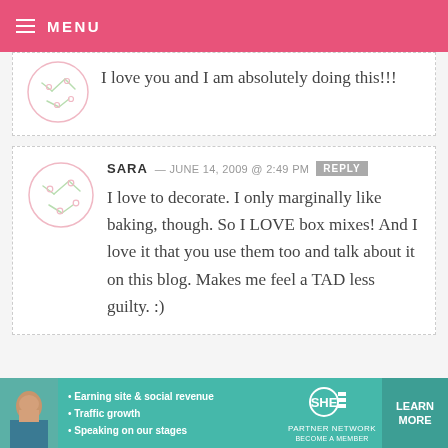MENU
I love you and I am absolutely doing this!!!
SARA — JUNE 14, 2009 @ 2:49 PM  REPLY
I love to decorate. I only marginally like baking, though. So I LOVE box mixes! And I love it that you use them too and talk about it on this blog. Makes me feel a TAD less guilty. :)
[Figure (other): SHE Partner Network advertisement banner with woman photo, bullet points about earning site and social revenue, traffic growth, speaking on stages, and Learn More button]